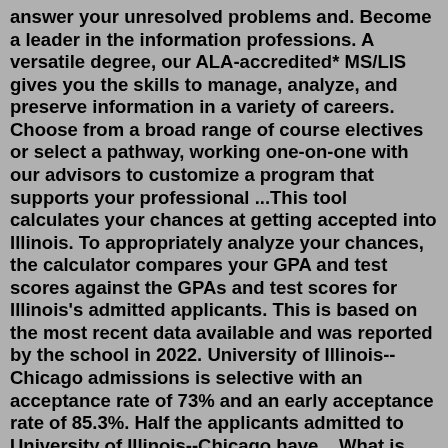answer your unresolved problems and. Become a leader in the information professions. A versatile degree, our ALA-accredited* MS/LIS gives you the skills to manage, analyze, and preserve information in a variety of careers. Choose from a broad range of course electives or select a pathway, working one-on-one with our advisors to customize a program that supports your professional ...This tool calculates your chances at getting accepted into Illinois. To appropriately analyze your chances, the calculator compares your GPA and test scores against the GPAs and test scores for Illinois's admitted applicants. This is based on the most recent data available and was reported by the school in 2022. University of Illinois--Chicago admissions is selective with an acceptance rate of 73% and an early acceptance rate of 85.3%. Half the applicants admitted to University of Illinois--Chicago have ...What is Uiuc Masters Cs Acceptance Rate. Likes: 596. Shares: 298.Uiuc Cs Acceptance Rate Reddit November 27, 2021 Admin Me and many